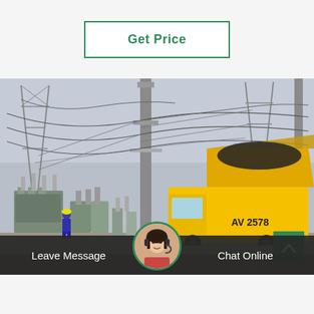Get Price
[Figure (photo): Industrial electrical substation with transmission towers, cables, transformers, workers in blue coveralls, and a yellow heavy-duty truck (AV 2578) with open rear bed in the foreground.]
Leave Message
Chat Online